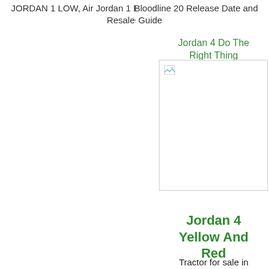JORDAN 1 LOW, Air Jordan 1 Bloodline 20 Release Date and Resale Guide
Jordan 4 Do The Right Thing
[Figure (photo): Broken/missing image placeholder for Jordan 4 Do The Right Thing sneaker]
Jordan 4 Yellow And Red
Tractor for sale in